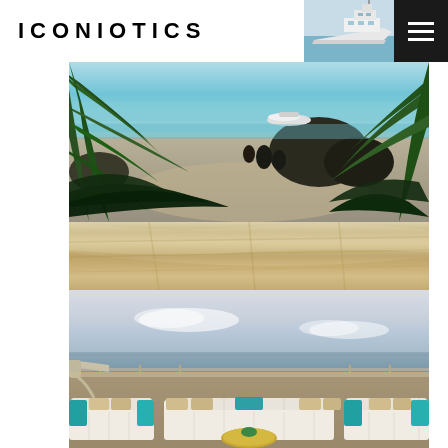ICONIOTICS
[Figure (photo): Luxury beach scene viewed through tropical palm fronds, with a jet ski on turquoise water and rocky shoreline in background]
[Figure (photo): Close-up of a curved beige canvas yacht awning or canopy]
[Figure (photo): Luxury yacht deck lounge area with white sofas, teal/turquoise cushions, gold coffee table, ocean horizon view]